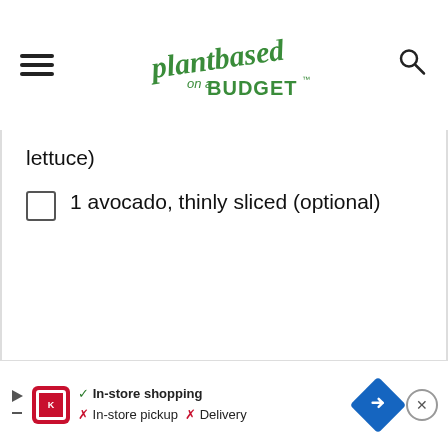plantbased on a BUDGET
lettuce)
1 avocado, thinly sliced (optional)
In-store shopping  In-store pickup  Delivery